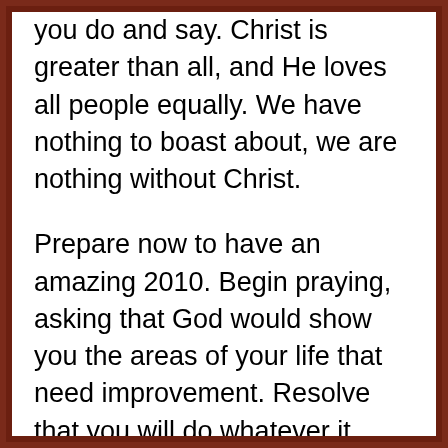you do and say. Christ is greater than all, and He loves all people equally. We have nothing to boast about, we are nothing without Christ.
Prepare now to have an amazing 2010. Begin praying, asking that God would show you the areas of your life that need improvement. Resolve that you will do whatever it takes to excel in the good works He has planned for you to do. Whatever your circumstances, you can choose to follow God in faithfulness, to live in humility and justice, and ultimately to love everyone with whom you come into contact. The upcoming year can be your best yet if you simply yield all that you have and all that you are to the Creator of the universe, the